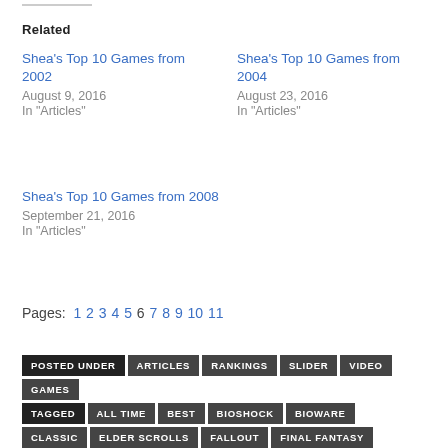Related
Shea's Top 10 Games from 2002
August 9, 2016
In "Articles"
Shea's Top 10 Games from 2004
August 23, 2016
In "Articles"
Shea's Top 10 Games from 2008
September 21, 2016
In "Articles"
Pages: 1 2 3 4 5 6 7 8 9 10 11
POSTED UNDER  ARTICLES  RANKINGS  SLIDER  VIDEO GAMES
TAGGED  ALL TIME  BEST  BIOSHOCK  BIOWARE  CLASSIC  ELDER SCROLLS  FALLOUT  FINAL FANTASY  GAMECUBE  GRAND THEFT AUTO  HALF-LIFE 2  KINGDOM